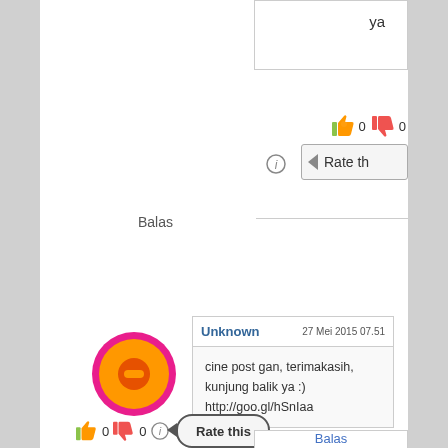ya
👍 0 👎 0
Rate th
Balas
[Figure (screenshot): Blogger user avatar with orange circle and pink border]
Unknown   27 Mei 2015 07.51
cine post gan, terimakasih, kunjung balik ya :)
http://goo.gl/hSnIaa
👍 0 👎 0
Rate this
Balas